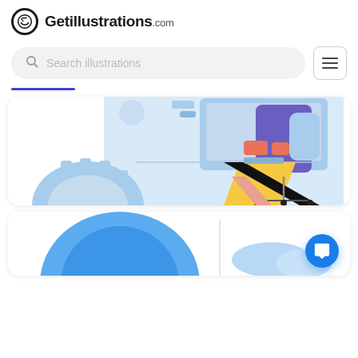[Figure (logo): Getillustrations.com logo with circular icon and bold text]
[Figure (screenshot): Search bar with placeholder 'Search illustrations' and hamburger menu button]
[Figure (illustration): Partial illustration showing a person working at a desk with blue and yellow geometric shapes, chair wheels visible at bottom]
[Figure (illustration): Partial illustration showing a blue circle/globe shape at bottom of page, partially cut off]